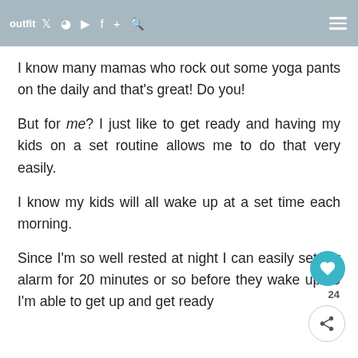outfit [icons: twitter, pinterest, youtube, facebook, plus, search, menu]
I know many mamas who rock out some yoga pants on the daily and that's great! Do you!
But for me? I just like to get ready and having my kids on a set routine allows me to do that very easily.
I know my kids will all wake up at a set time each morning.
Since I'm so well rested at night I can easily set my alarm for 20 minutes or so before they wake up so I'm able to get up and get ready